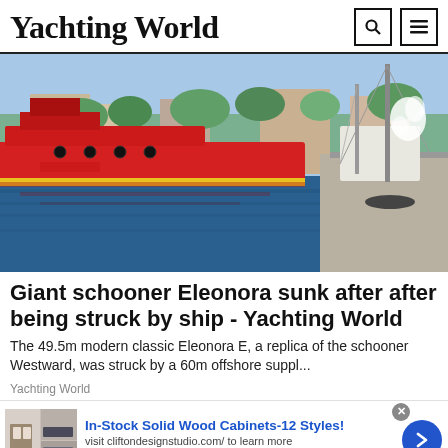Yachting World
[Figure (photo): Harbor scene with a large red offshore supply ship and a sailing schooner moored at a dock, with a white spray/smoke visible near the sailboat mast. Palm trees and buildings visible in background.]
Giant schooner Eleonora sunk after after being struck by ship - Yachting World
The 49.5m modern classic Eleonora E, a replica of the schooner Westward, was struck by a 60m offshore suppl...
Yachting World
In-Stock Solid Wood Cabinets-12 Styles!
visit cliftondesignstudio.com/ to learn more
www.cliftondesignstudio.com